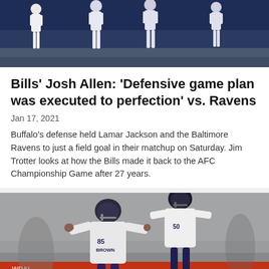[Figure (photo): Football players in white uniforms walking on a field, shot from behind, dark stadium background]
Bills' Josh Allen: 'Defensive game plan was executed to perfection' vs. Ravens
Jan 17, 2021
Buffalo's defense held Lamar Jackson and the Baltimore Ravens to just a field goal in their matchup on Saturday. Jim Trotter looks at how the Bills made it back to the AFC Championship Game after 27 years.
[Figure (photo): Baltimore Ravens players including #85 Brown celebrating on the field, wearing white and purple uniforms, red banner visible in background]